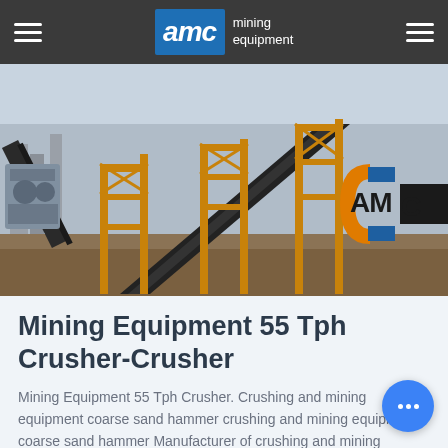AMC mining equipment
[Figure (photo): Mining/crushing facility with industrial conveyor belts, yellow steel framework structures, and AMC company logo visible on the right side of the image. Outdoor construction or industrial site.]
Mining Equipment 55 Tph Crusher-Crusher
Mining Equipment 55 Tph Crusher. Crushing and mining equipment coarse sand hammer crushing and mining equipment coarse sand hammer Manufacturer of crushing and mining equipment coarse sand hammer mill vertical shaft impactor